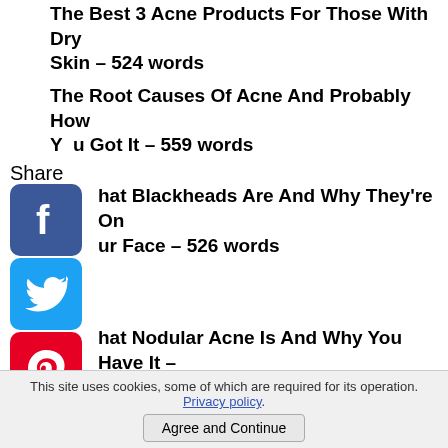The Best 3 Acne Products For Those With Dry Skin – 524 words
The Root Causes Of Acne And Probably How You Got It – 559 words
Share
hat Blackheads Are And Why They're On ur Face – 526 words
hat Nodular Acne Is And Why You Have It – 7 words
US BONUS:
nus report - Anti-Aging Skin Care
This site uses cookies, some of which are required for its operation. Privacy policy